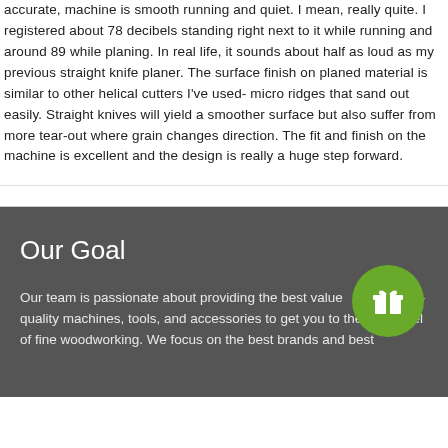accurate, machine is smooth running and quiet. I mean, really quite. I registered about 78 decibels standing right next to it while running and around 89 while planing. In real life, it sounds about half as loud as my previous straight knife planer. The surface finish on planed material is similar to other helical cutters I've used- micro ridges that sand out easily. Straight knives will yield a smoother surface but also suffer from more tear-out where grain changes direction. The fit and finish on the machine is excellent and the design is really a huge step forward.
Our Goal
Our team is passionate about providing the best value in-quality machines, tools, and accessories to get you to the next level of fine woodworking. We focus on the best brands and best
[Figure (illustration): Green circular button with a gift/present icon in white]